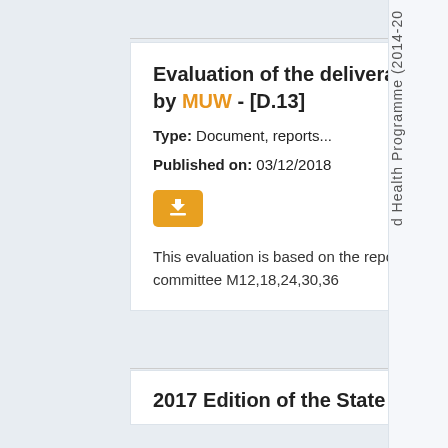Evaluation of the deliverables compared to plans lead by MUW - [D.13]
Type: Document, reports...
Published on: 03/12/2018
This evaluation is based on the reports of WP leaders to the Steering committee M12,18,24,30,36
2017 Edition of the State of
d Health Programme (2014-20